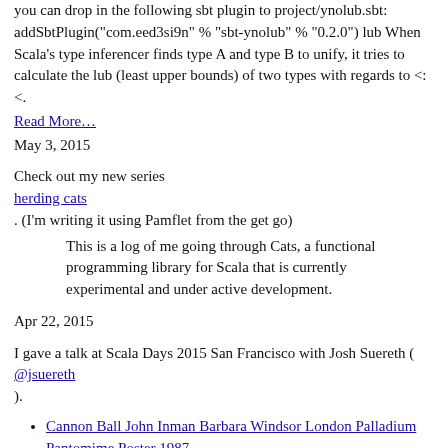you can drop in the following sbt plugin to project/ynolub.sbt: addSbtPlugin("com.eed3si9n" % "sbt-ynolub" % "0.2.0") lub When Scala's type inferencer finds type A and type B to unify, it tries to calculate the lub (least upper bounds) of two types with regards to <:<.
Read More…
May 3, 2015
Check out my new series
herding cats
. (I'm writing it using Pamflet from the get go)
This is a log of me going through Cats, a functional programming library for Scala that is currently experimental and under active development.
Apr 22, 2015
I gave a talk at Scala Days 2015 San Francisco with Josh Suereth (
@jsuereth
).
Cannon Ball John Inman Barbara Windsor London Palladium Pantomime Poster 1987
slides